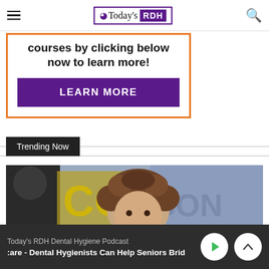Today's RDH
courses by clicking below now to learn more!
LEARN MORE
Trending Now
[Figure (photo): Young boy with curly hair smiling at what appears to be San Diego Comic Con, with other people visible in background]
Today's RDH Dental Hygiene Podcast — Care - Dental Hygienists Can Help Seniors Brid…